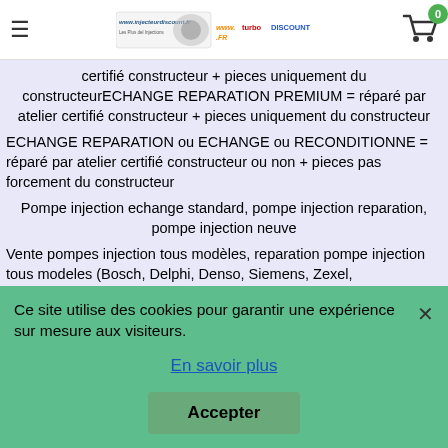Header with hamburger menu, injiteurdiscount.fr / turbodiscount.fr logos, cart with 0
certifié constructeur + pieces uniquement du constructeurECHANGE REPARATION PREMIUM = réparé par atelier certifié constructeur + pieces uniquement du constructeur
ECHANGE REPARATION ou ECHANGE ou RECONDITIONNE = réparé par atelier certifié constructeur ou non + pieces pas forcement du constructeur
Pompe injection echange standard, pompe injection reparation, pompe injection neuve
Vente pompes injection tous modèles, reparation pompe injection tous modeles (Bosch, Delphi, Denso, Siemens, Zexel,
Ce site utilise des cookies pour garantir une expérience sur mesure aux visiteurs.
En savoir plus
Accepter